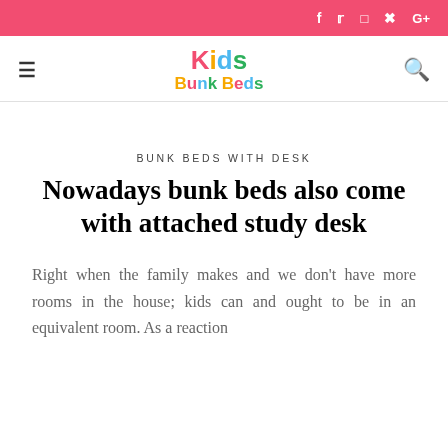f  t  [instagram]  [pinterest]  G+
[Figure (logo): Kids Bunk Beds website logo with colorful lettering]
BUNK BEDS WITH DESK
Nowadays bunk beds also come with attached study desk
Right when the family makes and we don't have more rooms in the house; kids can and ought to be in an equivalent room. As a reaction